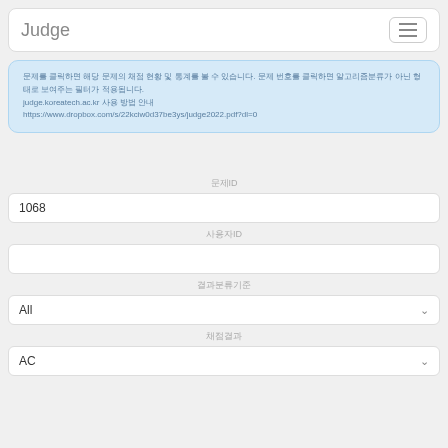Judge
문제를 클릭하면 해당 문제의 채점 현황 및 통계를 볼 수 있습니다. 문제 번호를 클릭하면 알고리즘분류가 아닌 형태로 보여주는 필터가 적용됩니다. judge.koreatech.ac.kr 사용 방법 안내 https://www.dropbox.com/s/22kciw0d37be3ys/judge2022.pdf?dl=0
문제ID
1068
사용자ID
결과분류기준
All
채점결과
AC